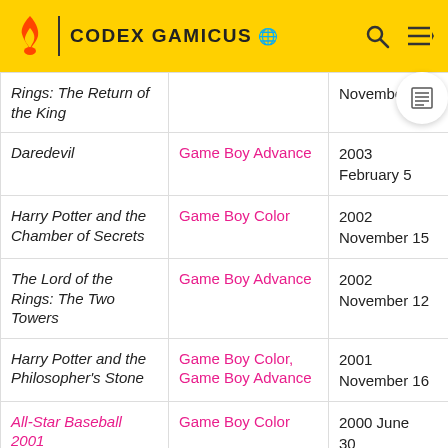CODEX GAMICUS
| Game | Platform | Date |
| --- | --- | --- |
| Rings: The Return of the King |  | November 6 |
| Daredevil | Game Boy Advance | 2003 February 5 |
| Harry Potter and the Chamber of Secrets | Game Boy Color | 2002 November 15 |
| The Lord of the Rings: The Two Towers | Game Boy Advance | 2002 November 12 |
| Harry Potter and the Philosopher's Stone | Game Boy Color, Game Boy Advance | 2001 November 16 |
| All-Star Baseball 2001 | Game Boy Color | 2000 June 30 |